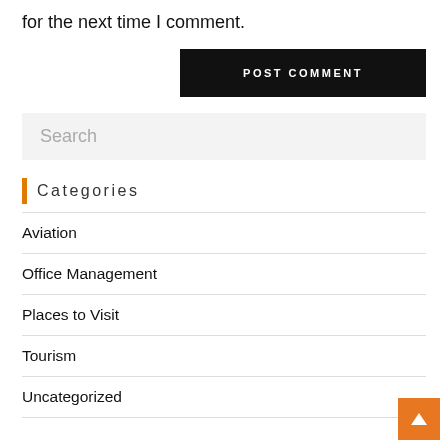for the next time I comment.
POST COMMENT
Search
Categories
Aviation
Office Management
Places to Visit
Tourism
Uncategorized